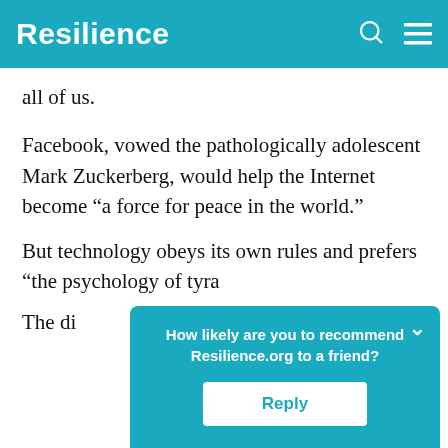Resilience
all of us.
Facebook, vowed the pathologically adolescent Mark Zuckerberg, would help the Internet become “a force for peace in the world.”
But technology obeys its own rules and prefers “the psychology of tyra…
The di…
[Figure (screenshot): Popup overlay asking 'How likely are you to recommend Resilience.org to a friend?' with a Reply button, displayed over the article content.]